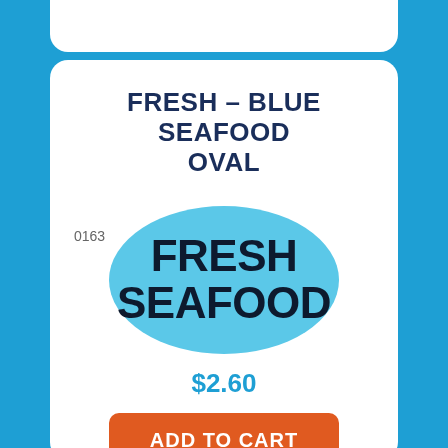FRESH – BLUE SEAFOOD OVAL
0163
[Figure (illustration): Light blue oval label with bold black text reading FRESH SEAFOOD]
$2.60
ADD TO CART